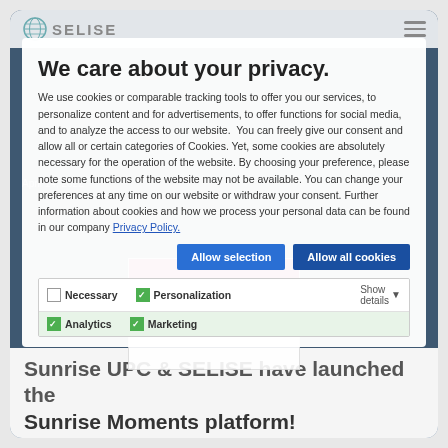[Figure (screenshot): SELISE website screenshot showing a cookie consent modal overlay with privacy notice, cookie category checkboxes, and action buttons. Below the screenshot, an article headline is partially visible.]
We care about your privacy.
We use cookies or comparable tracking tools to offer you our services, to personalize content and for advertisements, to offer functions for social media, and to analyze the access to our website. You can freely give our consent and allow all or certain categories of Cookies. Yet, some cookies are absolutely necessary for the operation of the website. By choosing your preference, please note some functions of the website may not be available. You can change your preferences at any time on our website or withdraw your consent. Further information about cookies and how we process your personal data can be found in our company Privacy Policy.
Allow selection   Allow all cookies
Necessary   Personalization   Show details   Analytics   Marketing
April 14, 2022
Sunrise UPC & SELISE have launched the Sunrise Moments platform!